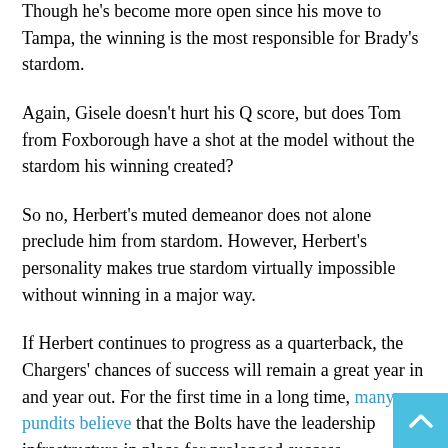Though he's become more open since his move to Tampa, the winning is the most responsible for Brady's stardom.
Again, Gisele doesn't hurt his Q score, but does Tom from Foxborough have a shot at the model without the stardom his winning created?
So no, Herbert's muted demeanor does not alone preclude him from stardom. However, Herbert's personality makes true stardom virtually impossible without winning in a major way.
If Herbert continues to progress as a quarterback, the Chargers' chances of success will remain a great year in and year out. For the first time in a long time, many pundits believe that the Bolts have the leadership infrastructure in place for prolonged success.
Herbert has enough Pro-Bowl caliber teammates—Joey